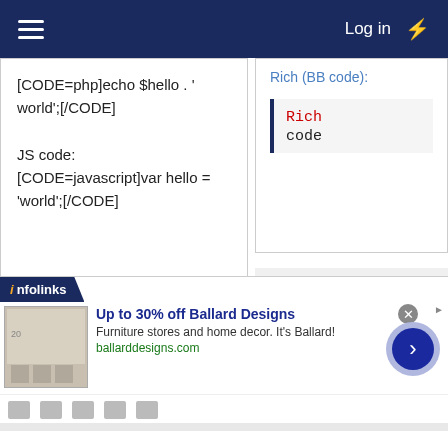Log in
[CODE=php]echo $hello . ' world';[/CODE]

JS code:
[CODE=javascript]var hello = 'world';[/CODE]
Rich (BB code):
Rich
code
PHP code:
PHP:

echo $hello . ' world
[Figure (screenshot): Advertisement banner: infolinks, Up to 30% off Ballard Designs, Furniture stores and home decor. It's Ballard!, ballarddesigns.com]